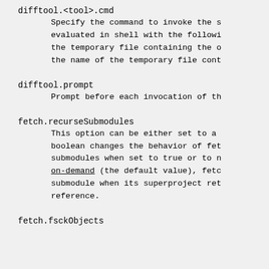difftool.<tool>.cmd
Specify the command to invoke the s evaluated in shell with the follow: the temporary file containing the c the name of the temporary file cont
difftool.prompt
Prompt before each invocation of th
fetch.recurseSubmodules
This option can be either set to a boolean changes the behavior of fet submodules when set to true or to n on-demand (the default value), fetc submodule when its superproject ret reference.
fetch.fsckObjects